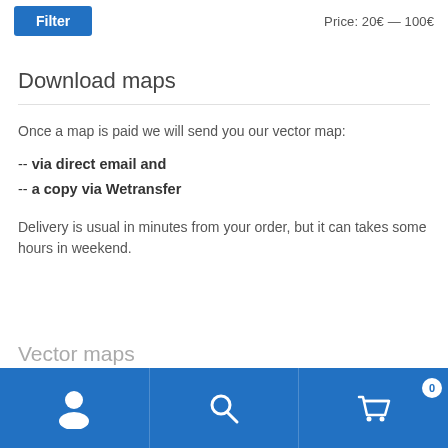Filter   Price: 20€ — 100€
Download maps
Once a map is paid we will send you our vector map:
-- via direct email and
-- a copy via Wetransfer
Delivery is usual in minutes from your order, but it can takes some hours in weekend.
Vector maps
User | Search | Cart (0)